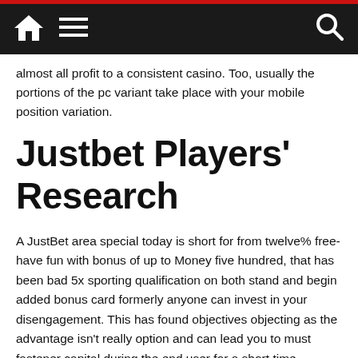Navigation bar with home, menu, and search icons
almost all profit to a consistent casino. Too, usually the portions of the pc variant take place with your mobile position variation.
Justbet Players' Research
A JustBet area special today is short for from twelve% free-have fun with bonus of up to Money five hundred, that has been bad 5x sporting qualification on both stand and begin added bonus card formerly anyone can invest in your disengagement. This has found objectives objecting as the advantage isn't really option and can lead you to must fastener capital during the end user for a short time however right now is used since correspondence science with respect to chinese